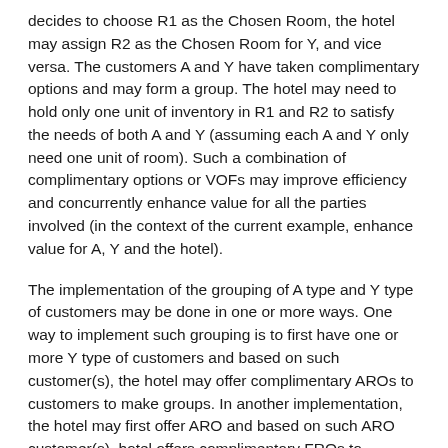decides to choose R1 as the Chosen Room, the hotel may assign R2 as the Chosen Room for Y, and vice versa. The customers A and Y have taken complimentary options and may form a group. The hotel may need to hold only one unit of inventory in R1 and R2 to satisfy the needs of both A and Y (assuming each A and Y only need one unit of room). Such a combination of complimentary options or VOFs may improve efficiency and concurrently enhance value for all the parties involved (in the context of the current example, enhance value for A, Y and the hotel).
The implementation of the grouping of A type and Y type of customers may be done in one or more ways. One way to implement such grouping is to first have one or more Y type of customers and based on such customer(s), the hotel may offer complimentary AROs to customers to make groups. In another implementation, the hotel may first offer ARO and based on such ARO customer(s), hotel offers complimentary FROs to customers to make groups. In yet another implementation, the hotel may offer ARO and FRO separately and then define a process to make complimentary groups of A and Y customers (such groups termed "AY Groups").